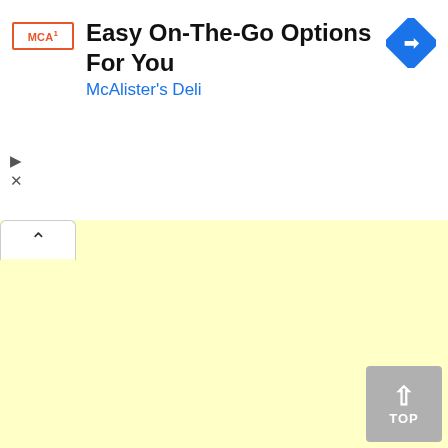[Figure (screenshot): Advertisement banner: McAlister's Deli ad with logo, text 'Easy On-The-Go Options For You' and 'McAlister's Deli', navigation arrow icon in blue diamond]
[Figure (screenshot): Yellow advertisement/content area with a white tab button containing a caret/chevron up icon on the left]
[Figure (screenshot): Navigation bar with search icon (magnifying glass) on left and red hamburger menu button on right]
You are here
Home > LOCAL > GKS warns on dangers inherent in quick riches